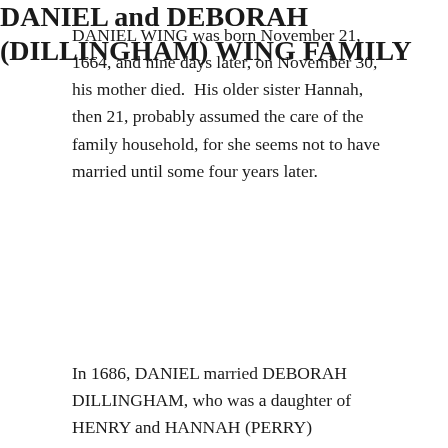DANIEL WING was born November 21, 1664, and nine days later, on November 30, his mother died.  His older sister Hannah, then 21, probably assumed the care of the family household, for she seems not to have married until some four years later.
DANIEL and DEBORAH (DILLINGHAM) WING FAMILY
In 1686, DANIEL married DEBORAH DILLINGHAM, who was a daughter of HENRY and HANNAH (PERRY) DILLINGHAM, devout Quakers, and a granddaughter of EDWARD DILLINGHAM.  DEBORAH was five years older